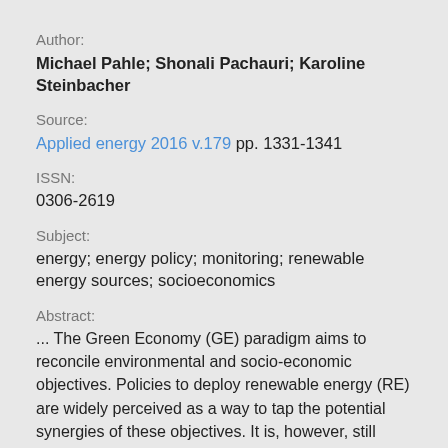Author:
Michael Pahle; Shonali Pachauri; Karoline Steinbacher
Source:
Applied energy 2016 v.179 pp. 1331-1341
ISSN:
0306-2619
Subject:
energy; energy policy; monitoring; renewable energy sources; socioeconomics
Abstract:
... The Green Economy (GE) paradigm aims to reconcile environmental and socio-economic objectives. Policies to deploy renewable energy (RE) are widely perceived as a way to tap the potential synergies of these objectives. It is, however, still largely unclear whether the potential of simultaneously achieving both environmental and socio-economic objectives can be fully realized, and whether and how mu ...